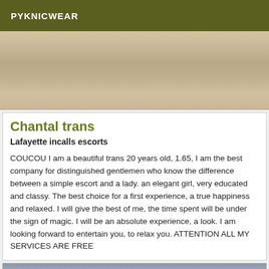PYKNICWEAR
[Figure (photo): Close-up photo (top portion visible)]
Chantal trans
Lafayette incalls escorts
COUCOU I am a beautiful trans 20 years old, 1.65, I am the best company for distinguished gentlemen who know the difference between a simple escort and a lady. an elegant girl, very educated and classy. The best choice for a first experience, a true happiness and relaxed. I will give the best of me, the time spent will be under the sign of magic. I will be an absolute experience, a look. I am looking forward to entertain you, to relax you. ATTENTION ALL MY SERVICES ARE FREE
[Figure (photo): Outdoor landscape photo (bottom portion visible)]